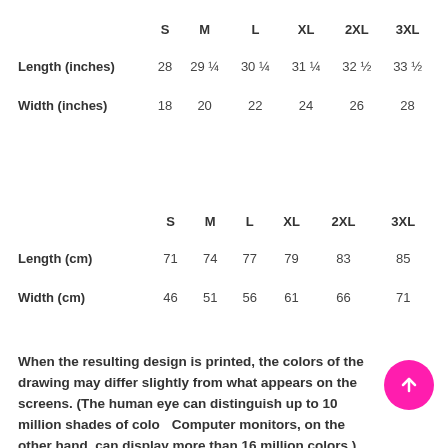|  | S | M | L | XL | 2XL | 3XL |
| --- | --- | --- | --- | --- | --- | --- |
| Length (inches) | 28 | 29 ¼ | 30 ¼ | 31 ¼ | 32 ½ | 33 ½ |
| Width (inches) | 18 | 20 | 22 | 24 | 26 | 28 |
|  | S | M | L | XL | 2XL | 3XL |
| --- | --- | --- | --- | --- | --- | --- |
| Length (cm) | 71 | 74 | 77 | 79 | 83 | 85 |
| Width (cm) | 46 | 51 | 56 | 61 | 66 | 71 |
When the resulting design is printed, the colors of the drawing may differ slightly from what appears on the screens. (The human eye can distinguish up to 10 million shades of color. Computer monitors, on the other hand, can display more than 16 million colors.)